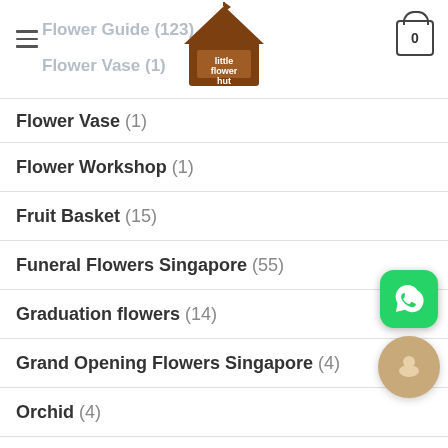little flower hut — navigation header with logo and cart (0)
Flower Vase (1)
Flower Workshop (1)
Fruit Basket (15)
Funeral Flowers Singapore (55)
Graduation flowers (14)
Grand Opening Flowers Singapore (4)
Orchid (4)
Plants Singapore (19)
quotes (10)
Succulent (1)
[Figure (logo): Little Flower Hut logo — brown illustrated house/hut with text]
[Figure (illustration): WhatsApp green chat button]
[Figure (illustration): Live chat beige circular button]